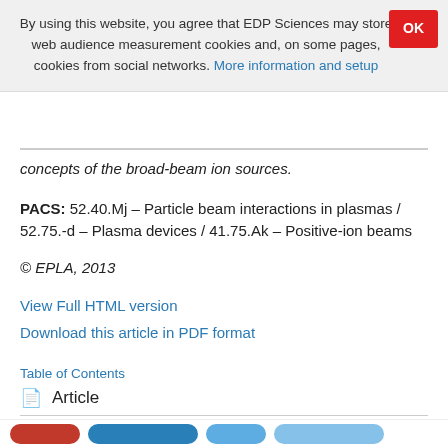By using this website, you agree that EDP Sciences may store web audience measurement cookies and, on some pages, cookies from social networks. More information and setup
concepts of the broad-beam ion sources.
PACS: 52.40.Mj – Particle beam interactions in plasmas / 52.75.-d – Plasma devices / 41.75.Ak – Positive-ion beams
© EPLA, 2013
View Full HTML version
Download this article in PDF format
Table of Contents
Article